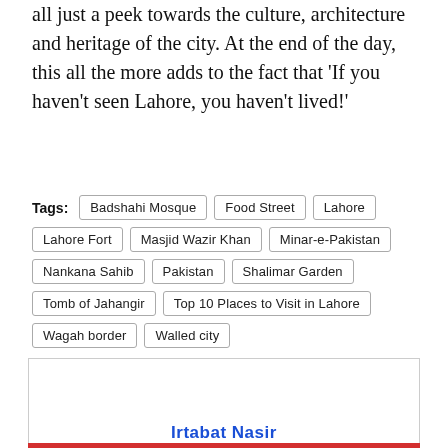all just a peek towards the culture, architecture and heritage of the city. At the end of the day, this all the more adds to the fact that 'If you haven't seen Lahore, you haven't lived!'
Tags: Badshahi Mosque  Food Street  Lahore  Lahore Fort  Masjid Wazir Khan  Minar-e-Pakistan  Nankana Sahib  Pakistan  Shalimar Garden  Tomb of Jahangir  Top 10 Places to Visit in Lahore  Wagah border  Walled city
Irtabat Nasir